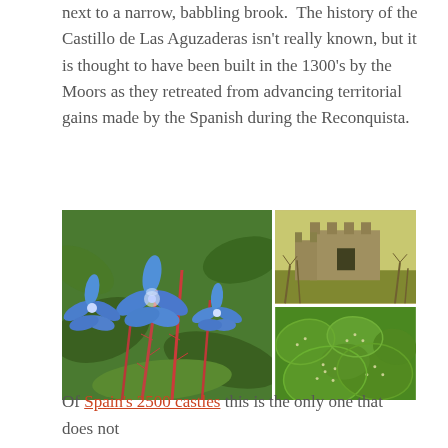next to a narrow, babbling brook.  The history of the Castillo de Las Aguzaderas isn't really known, but it is thought to have been built in the 1300's by the Moors as they retreated from advancing territorial gains made by the Spanish during the Reconquista.
[Figure (photo): Three photos arranged in a grid: left large photo shows blue borage flowers with red hairy stems and green leaves; top right shows a ruined stone castle tower with battlements surrounded by bare vegetation; bottom right shows green prickly pear cactus pads.]
Of Spain's 2500 castles this is the only one that does not